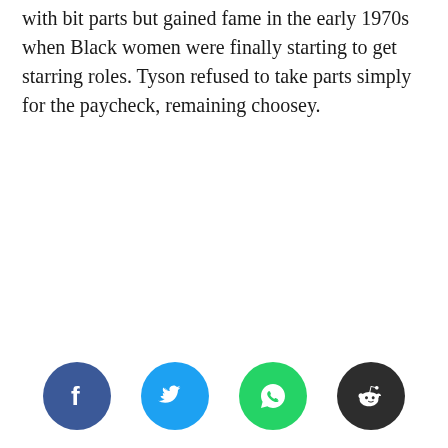with bit parts but gained fame in the early 1970s when Black women were finally starting to get starring roles. Tyson refused to take parts simply for the paycheck, remaining choosey.
[Figure (infographic): Four social media share buttons: Facebook (dark blue), Twitter (light blue), WhatsApp (green), Reddit (dark gray)]